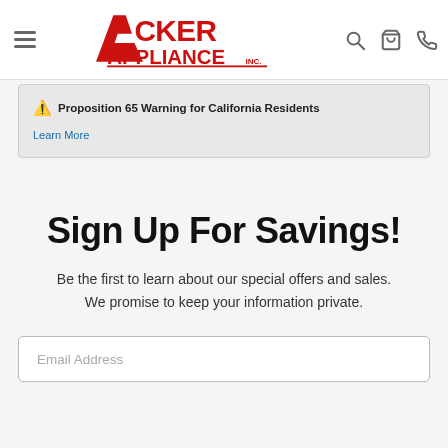Acker Appliance Inc. — navigation header with hamburger menu, logo, search, cart, and phone icons
⚠ Proposition 65 Warning for California Residents
Learn More
Sign Up For Savings!
Be the first to learn about our special offers and sales. We promise to keep your information private.
Email Address